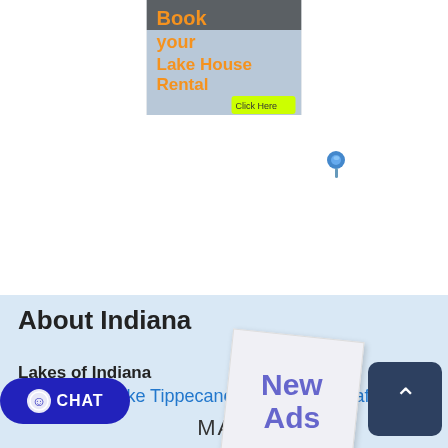[Figure (screenshot): Advertisement banner for Lake House Rental with text 'Book your Lake House Rental' and a 'Click Here' button, shown partially at top of page]
[Figure (infographic): Orange rounded button labeled 'Notify Me About...' with a sticky note overlay showing 'New Ads' in purple text on a white/light paper note pinned with a blue pushpin]
About Indiana
Lakes of Indiana
Wawasee, Lake Tippecanoe, and Lake Shafe
MAP